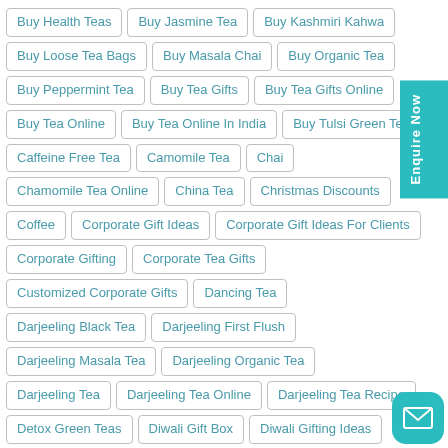Buy Health Teas
Buy Jasmine Tea
Buy Kashmiri Kahwa
Buy Loose Tea Bags
Buy Masala Chai
Buy Organic Tea
Buy Peppermint Tea
Buy Tea Gifts
Buy Tea Gifts Online
Buy Tea Online
Buy Tea Online In India
Buy Tulsi Green Tea
Caffeine Free Tea
Camomile Tea
Chai
Chamomile Tea Online
China Tea
Christmas Discounts
Coffee
Corporate Gift Ideas
Corporate Gift Ideas For Clients
Corporate Gifting
Corporate Tea Gifts
Customized Corporate Gifts
Dancing Tea
Darjeeling Black Tea
Darjeeling First Flush
Darjeeling Masala Tea
Darjeeling Organic Tea
Darjeeling Tea
Darjeeling Tea Online
Darjeeling Tea Recipe
Detox Green Teas
Diwali Gift Box
Diwali Gifting Ideas